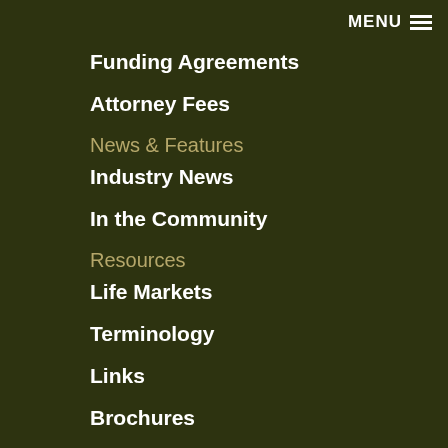MENU
Funding Agreements
Attorney Fees
News & Features
Industry News
In the Community
Resources
Life Markets
Terminology
Links
Brochures
Video Library
About Us
Our Services
Continuing Education Seminars